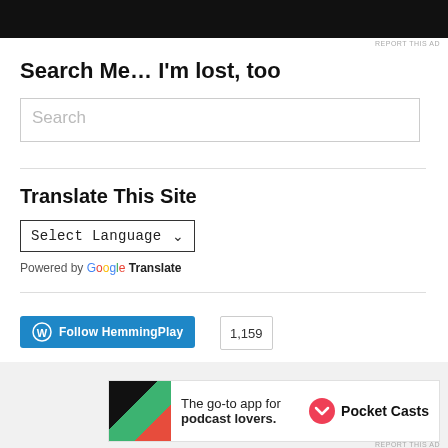[Figure (screenshot): Top black ad banner area]
REPORT THIS AD
Search Me… I'm lost, too
[Figure (screenshot): Search input box with placeholder text 'Search']
Translate This Site
[Figure (screenshot): Select Language dropdown]
Powered by Google Translate
[Figure (screenshot): Follow HemmingPlay button with WordPress icon and follower count 1,159]
Advertisements
[Figure (screenshot): Pocket Casts ad banner: The go-to app for podcast lovers.]